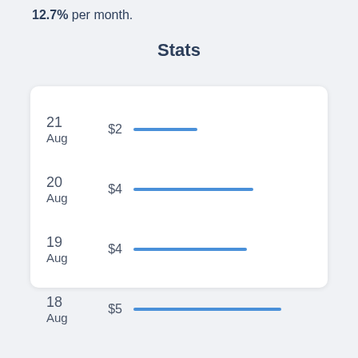12.7% per month.
Stats
[Figure (bar-chart): Stats]